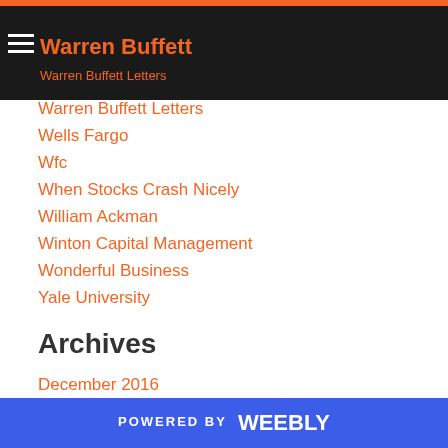Warren Buffett
Warren Buffett Letters
Wells Fargo
Wfc
When Stocks Crash Nicely
William Ackman
Winton Capital Management
Wonderful Business
Yale University
Archives
December 2016
August 2016
June 2016
May 2016
POWERED BY weebly